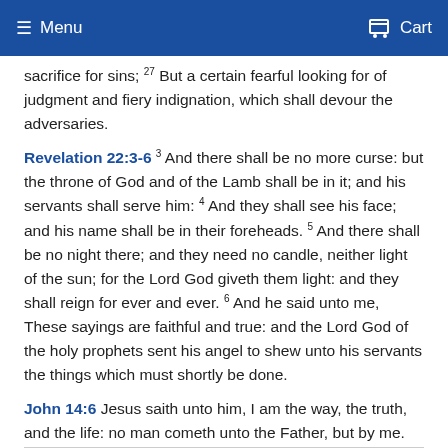Menu   Cart
sacrifice for sins; 27 But a certain fearful looking for of judgment and fiery indignation, which shall devour the adversaries.
Revelation 22:3-6 3 And there shall be no more curse: but the throne of God and of the Lamb shall be in it; and his servants shall serve him: 4 And they shall see his face; and his name shall be in their foreheads. 5 And there shall be no night there; and they need no candle, neither light of the sun; for the Lord God giveth them light: and they shall reign for ever and ever. 6 And he said unto me, These sayings are faithful and true: and the Lord God of the holy prophets sent his angel to shew unto his servants the things which must shortly be done.
John 14:6 Jesus saith unto him, I am the way, the truth, and the life: no man cometh unto the Father, but by me.